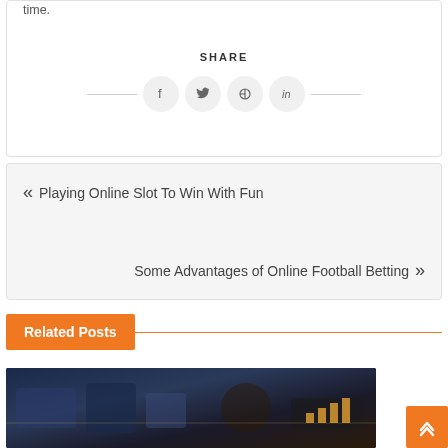time.
SHARE
[Figure (other): Social share buttons: Facebook, Twitter, Pinterest, LinkedIn icons in circles with horizontal lines on either side]
« Playing Online Slot To Win With Fun
Some Advantages of Online Football Betting »
Related Posts
[Figure (photo): Dark themed photo showing people in what appears to be a casino or gaming setting]